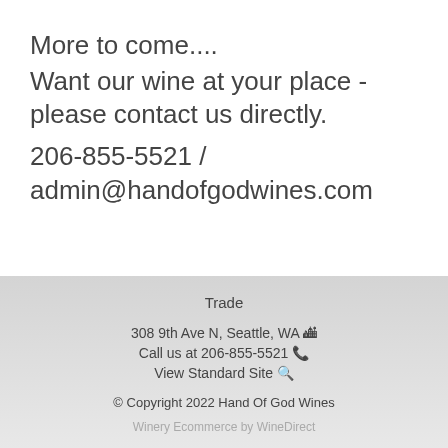More to come....
Want our wine at your place - please contact us directly.
206-855-5521 / admin@handofgodwines.com
Trade
308 9th Ave N, Seattle, WA 🏙 Call us at 206-855-5521 📞 View Standard Site 🔍
© Copyright 2022 Hand Of God Wines
Winery Ecommerce by WineDirect